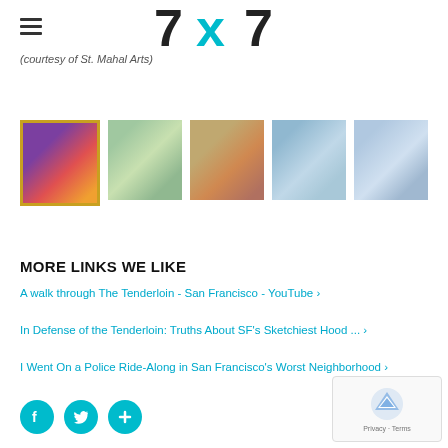7x7 logo with hamburger menu
(courtesy of St. Mahal Arts)
[Figure (photo): Gallery row of 5 artwork thumbnail images]
MORE LINKS WE LIKE
A walk through The Tenderloin - San Francisco - YouTube ›
In Defense of the Tenderloin: Truths About SF's Sketchiest Hood ... ›
I Went On a Police Ride-Along in San Francisco's Worst Neighborhood ›
[Figure (other): Social share buttons: Facebook, Twitter, Plus]